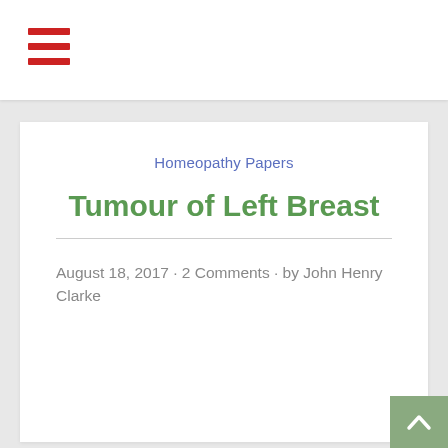Homeopathy Papers
Tumour of Left Breast
August 18, 2017 · 2 Comments · by John Henry Clarke